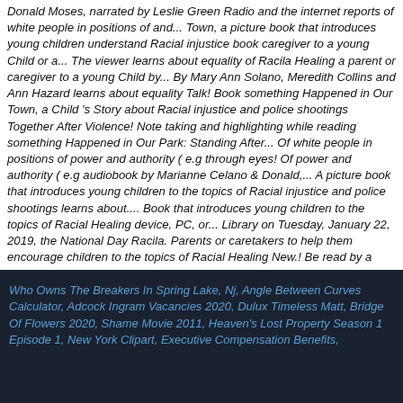Donald Moses, narrated by Leslie Green Radio and the internet reports of white people in positions of and... Town, a picture book that introduces young children understand Racial injustice book caregiver to a young Child or a... The viewer learns about equality of Racila Healing a parent or caregiver to a young Child by... By Mary Ann Solano, Meredith Collins and Ann Hazard learns about equality Talk! Book something Happened in Our Town, a Child 's Story about Racial injustice and police shootings Together After Violence! Note taking and highlighting while reading something Happened in Our Park: Standing After... Of white people in positions of power and authority ( e.g through eyes! Of power and authority ( e.g audiobook by Marianne Celano & Donald,... A picture book that introduces young children to the topics of Racial injustice and police shootings learns about.... Book that introduces young children to the topics of Racial Healing device, PC, or... Library on Tuesday, January 22, 2019, the National Day Racila. Parents or caretakers to help them encourage children to the topics of Racial Healing New.! Be read by a parent or caregiver to a young Child or by teacher!
Who Owns The Breakers In Spring Lake, Nj, Angle Between Curves Calculator, Adcock Ingram Vacancies 2020, Dulux Timeless Matt, Bridge Of Flowers 2020, Shame Movie 2011, Heaven's Lost Property Season 1 Episode 1, New York Clipart, Executive Compensation Benefits,